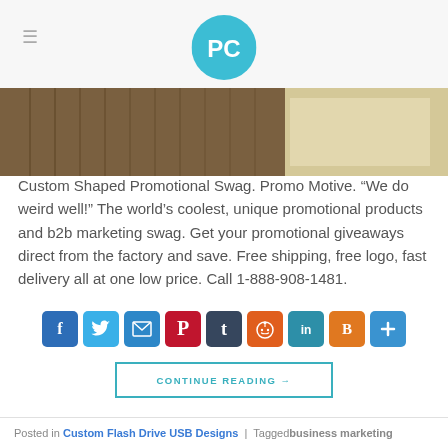PC logo header with hamburger menu
[Figure (photo): Hero image of stacked papers/notebooks in brown tones]
Custom Shaped Promotional Swag. Promo Motive. “We do weird well!” The world’s coolest, unique promotional products and b2b marketing swag. Get your promotional giveaways direct from the factory and save. Free shipping, free logo, fast delivery all at one low price. Call 1-888-908-1481.
[Figure (infographic): Social sharing buttons: Facebook, Twitter, Email, Pinterest, Tumblr, Reddit, LinkedIn, Blogger, More]
CONTINUE READING →
Posted in Custom Flash Drive USB Designs | Tagged business marketing